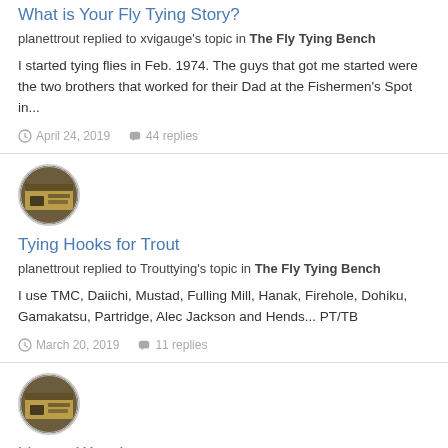What is Your Fly Tying Story?
planettrout replied to xvigauge's topic in The Fly Tying Bench
I started tying flies in Feb. 1974. The guys that got me started were the two brothers that worked for their Dad at the Fishermen's Spot in...
April 24, 2019   44 replies
[Figure (photo): Circular avatar image showing fly tying bench with materials]
Tying Hooks for Trout
planettrout replied to Trouttying's topic in The Fly Tying Bench
I use TMC, Daiichi, Mustad, Fulling Mill, Hanak, Firehole, Dohiku, Gamakatsu, Partridge, Alec Jackson and Hends... PT/TB
March 20, 2019   11 replies
[Figure (photo): Circular avatar image showing fly tying bench with materials]
Ligas v Wapsi
planettrout replied to chugbug27's topic in The Fly Tying Bench